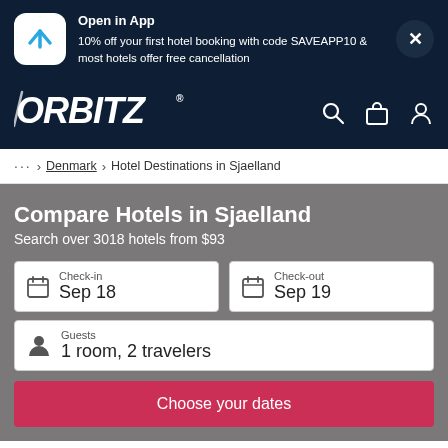Open in App
10% off your first hotel booking with code SAVEAPP10 & most hotels offer free cancellation
[Figure (logo): Orbitz logo in white italic bold text on dark navy background]
... > Denmark > Hotel Destinations in Sjaelland
Compare Hotels in Sjaelland
Search over 3018 hotels from $93
Check-in Sep 18
Check-out Sep 19
Guests 1 room, 2 travelers
Choose your dates